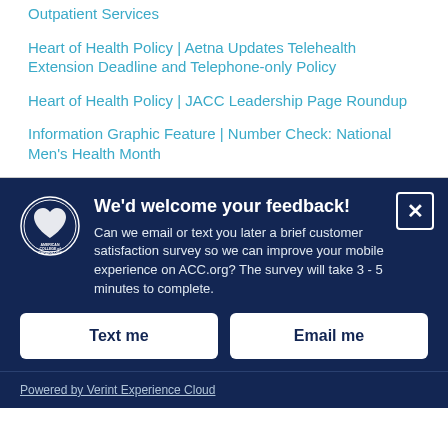Outpatient Services
Heart of Health Policy | Aetna Updates Telehealth Extension Deadline and Telephone-only Policy
Heart of Health Policy | JACC Leadership Page Roundup
Information Graphic Feature | Number Check: National Men's Health Month
[Figure (logo): American College of Cardiology circular logo in white on dark navy background]
We'd welcome your feedback! Can we email or text you later a brief customer satisfaction survey so we can improve your mobile experience on ACC.org? The survey will take 3 - 5 minutes to complete.
Text me
Email me
Powered by Verint Experience Cloud